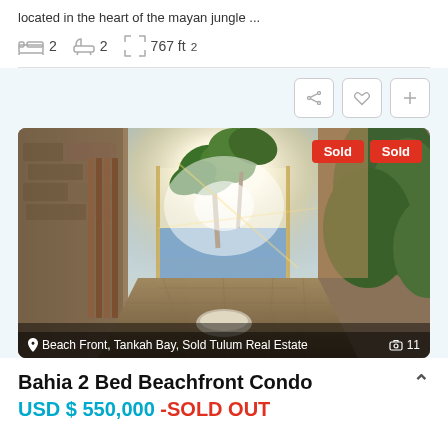located in the heart of the mayan jungle ...
2 beds  2 baths  767 ft²
[Figure (photo): Beachfront condo property photo showing a stone-walled courtyard entrance with palm trees, sunlight, and ocean view in background. Two red 'Sold' badges in top right. Location text at bottom: Beach Front, Tankah Bay, Sold Tulum Real Estate. Photo count: 11.]
Bahia 2 Bed Beachfront Condo
USD $ 550,000 -SOLD OUT